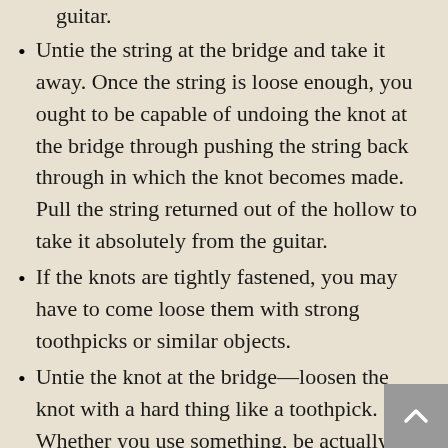guitar.
Untie the string at the bridge and take it away. Once the string is loose enough, you ought to be capable of undoing the knot at the bridge through pushing the string back through in which the knot becomes made. Pull the string returned out of the hollow to take it absolutely from the guitar.
If the knots are tightly fastened, you may have to come loose them with strong toothpicks or similar objects.
Untie the knot at the bridge—loosen the knot with a hard thing like a toothpick. Whether you use something, be actually cautious not to scrape the bridge.